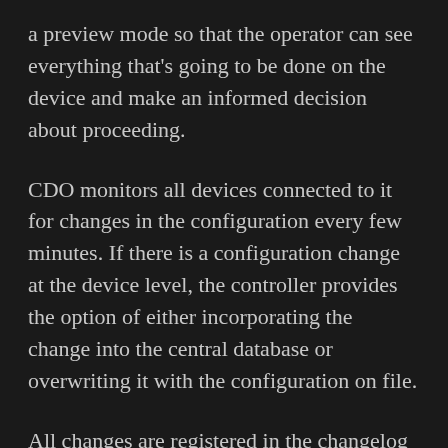a preview mode so that the operator can see everything that's going to be done on the device and make an informed decision about proceeding.
CDO monitors all devices connected to it for changes in the configuration every few minutes. If there is a configuration change at the device level, the controller provides the option of either incorporating the change into the central database or overwriting it with the configuration on file.
All changes are registered in the changelog facility, which shows all changes at both the device level and the CDO database. The operator can then look and see if there was a change corresponding to when problems occur. Should problems be traced to the change, the